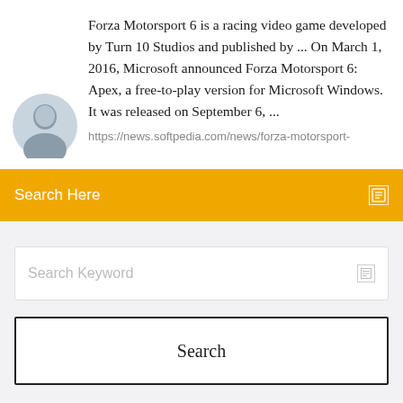Forza Motorsport 6 is a racing video game developed by Turn 10 Studios and published by ... On March 1, 2016, Microsoft announced Forza Motorsport 6: Apex, a free-to-play version for Microsoft Windows. It was released on September 6, ...
https://news.softpedia.com/news/forza-motorsport-
[Figure (photo): Circular avatar photo of a man]
Search Here
Search Keyword
Search